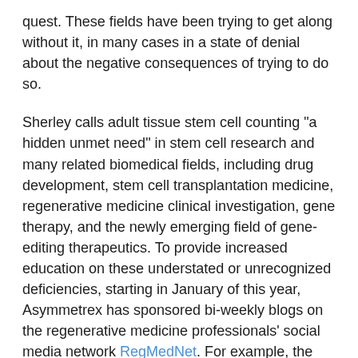quest. These fields have been trying to get along without it, in many cases in a state of denial about the negative consequences of trying to do so.
Sherley calls adult tissue stem cell counting "a hidden unmet need" in stem cell research and many related biomedical fields, including drug development, stem cell transplantation medicine, regenerative medicine clinical investigation, gene therapy, and the newly emerging field of gene-editing therapeutics. To provide increased education on these understated or unrecognized deficiencies, starting in January of this year, Asymmetrex has sponsored bi-weekly blogs on the regenerative medicine professionals' social media network RegMedNet. For example, the blogs highlight fundamental deficiencies in ongoing regenerative medicine trials in which the stem cell number in transplanted treatment preparations is unknown. Without knowing stem cell number, and thereby stem cell dose, how can outcomes be interpreted from one trial to the next?